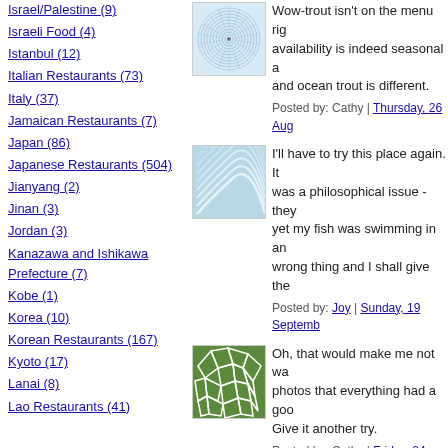Israel/Palestine (9)
Israeli Food (4)
Istanbul (12)
Italian Restaurants (73)
Italy (37)
Jamaican Restaurants (7)
Japan (86)
Japanese Restaurants (504)
Jianyang (2)
Jinan (3)
Jordan (3)
Kanazawa and Ishikawa Prefecture (7)
Kobe (1)
Korea (10)
Korean Restaurants (167)
Kyoto (17)
Lanai (8)
Lao Restaurants (41)
[Figure (illustration): Circular spiral pattern avatar in blue/grey tones]
Wow-trout isn't on the menu rig... availability is indeed seasonal a... and ocean trout is different.
Posted by: Cathy | Thursday, 26 Aug...
[Figure (illustration): Blue wave/fan pattern avatar]
I'll have to try this place again. ... was a philosophical issue - they... yet my fish was swimming in an... wrong thing and I shall give the...
Posted by: Joy | Sunday, 19 Septemb...
[Figure (illustration): Green mosaic/cellular pattern avatar]
Oh, that would make me not wa... photos that everything had a goo... Give it another try.
Posted by: Cathy | Friday, 24 Septem...
Post a comment
Comment below or sign in with Typepa...